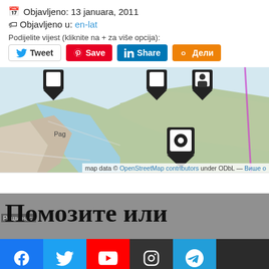📅 Objavljeno: 13 januara, 2011
🏷 Objavljeno u: en-lat
Podijelite vijest (kliknite na + za više opcija):
[Figure (screenshot): Social share buttons: Tweet (Twitter), Save (Pinterest), Share (LinkedIn), Дели (Odnoklassniki)]
[Figure (map): OpenStreetMap showing Pag island region (Croatia) with map markers including a pinned location marker, map data © OpenStreetMap contributors under ODbL — Више о]
[Figure (screenshot): Promotional banner with Cyrillic text 'Помозите или' and partial second line, overlaid with social media icons bar (Facebook, Twitter, YouTube, Instagram, Telegram)]